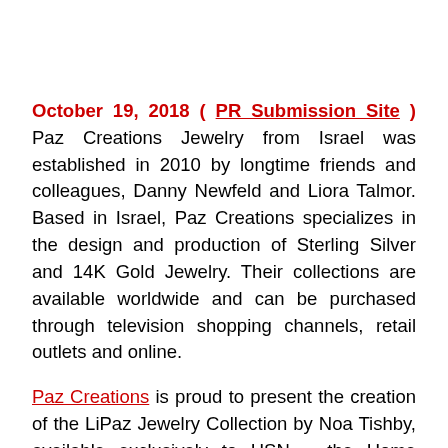October 19, 2018 ( PR Submission Site ) Paz Creations Jewelry from Israel was established in 2010 by longtime friends and colleagues, Danny Newfeld and Liora Talmor. Based in Israel, Paz Creations specializes in the design and production of Sterling Silver and 14K Gold Jewelry. Their collections are available worldwide and can be purchased through television shopping channels, retail outlets and online.
Paz Creations is proud to present the creation of the LiPaz Jewelry Collection by Noa Tishby, available exclusively to HSN – the Home Shopping Network. The LiPaz Jewelry Collection features sterling silver jewelry (with and without gemstones). The collection is feminine, yet bold. Fashion forward, yet timeless. Inspired by the countryside of Israel the LiPaz Collection